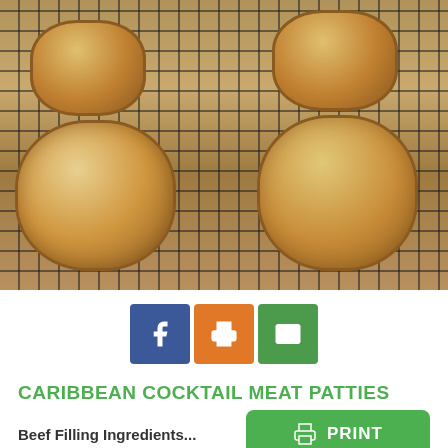[Figure (photo): Caribbean cocktail meat patties cooling on a wire rack, showing round golden-brown baked pastries]
[Figure (infographic): Social sharing buttons: Facebook (blue), Print (orange), Email (green)]
CARIBBEAN COCKTAIL MEAT PATTIES
Beef Filling Ingredients...
[Figure (infographic): Green PRINT button with printer icon]
[Figure (infographic): Facebook footer bar with white Facebook 'f' logo on blue background]